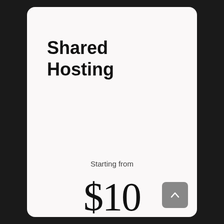Shared Hosting
Starting from
$10